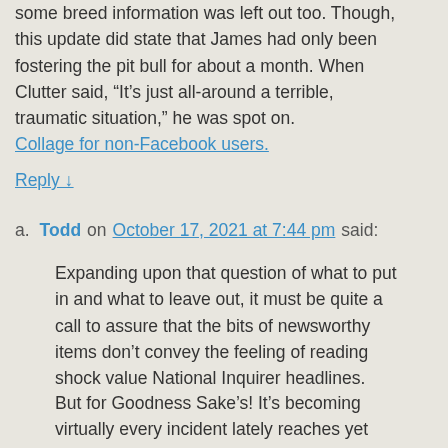some breed information was left out too. Though, this update did state that James had only been fostering the pit bull for about a month. When Clutter said, “It’s just all-around a terrible, traumatic situation,” he was spot on. Collage for non-Facebook users.
Reply ↓
a. Todd on October 17, 2021 at 7:44 pm said:
Expanding upon that question of what to put in and what to leave out, it must be quite a call to assure that the bits of newsworthy items don’t convey the feeling of reading shock value National Inquirer headlines.
But for Goodness Sake’s! It’s becoming virtually every incident lately reaches yet another plateau of